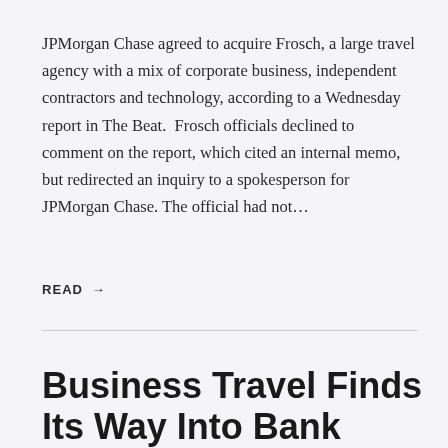JPMorgan Chase agreed to acquire Frosch, a large travel agency with a mix of corporate business, independent contractors and technology, according to a Wednesday report in The Beat.  Frosch officials declined to comment on the report, which cited an internal memo, but redirected an inquiry to a spokesperson for JPMorgan Chase. The official had not…
READ →
Business Travel Finds Its Way Into Bank Competition With